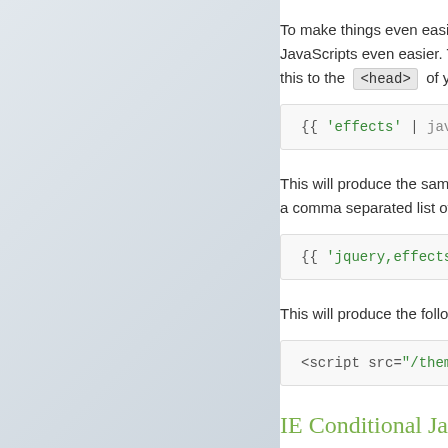To make things even easier, we provide JavaScripts even easier. To link to this to the <head> of your templ…
{{ 'effects' | javascri…
This will produce the same markup… a comma separated list of filenames…
{{ 'jquery,effects,beha…
This will produce the following HTM…
<script src="/theme/4b1…
IE Conditional JavaSc…